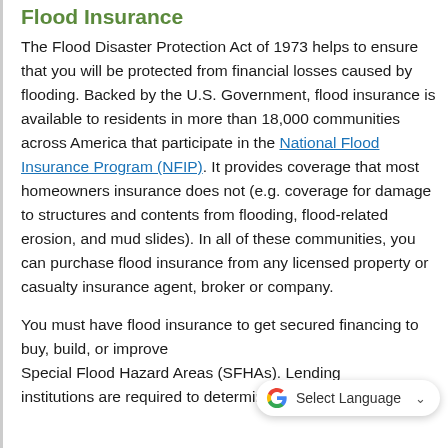Flood Insurance
The Flood Disaster Protection Act of 1973 helps to ensure that you will be protected from financial losses caused by flooding. Backed by the U.S. Government, flood insurance is available to residents in more than 18,000 communities across America that participate in the National Flood Insurance Program (NFIP). It provides coverage that most homeowners insurance does not (e.g. coverage for damage to structures and contents from flooding, flood-related erosion, and mud slides). In all of these communities, you can purchase flood insurance from any licensed property or casualty insurance agent, broker or company.
You must have flood insurance to get secured financing to buy, build, or improve property in Special Flood Hazard Areas (SFHAs). Lending institutions are required to determine whether...